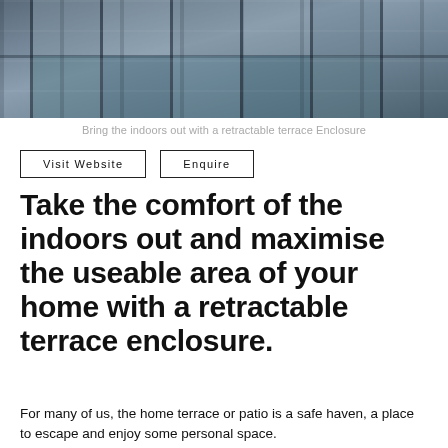[Figure (photo): Photo of a retractable terrace enclosure with glass panels, showing a pool area beyond large glass doors/windows, in dark and grey tones.]
Bring the indoors out with a retractable terrace Enclosure
Visit Website   Enquire
Take the comfort of the indoors out and maximise the useable area of your home with a retractable terrace enclosure.
For many of us, the home terrace or patio is a safe haven, a place to escape and enjoy some personal space.